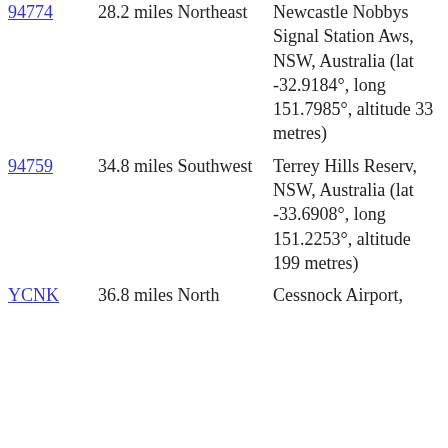| Code | Distance | Description |
| --- | --- | --- |
| 94774 | 28.2 miles Northeast | Newcastle Nobbys Signal Station Aws, NSW, Australia (lat -32.9184°, long 151.7985°, altitude 33 metres) |
| 94759 | 34.8 miles Southwest | Terrey Hills Reserv, NSW, Australia (lat -33.6908°, long 151.2253°, altitude 199 metres) |
| YCNK | 36.8 miles North | Cessnock Airport, |